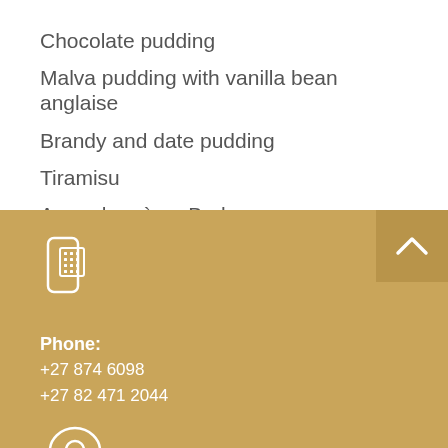Chocolate pudding
Malva pudding with vanilla bean anglaise
Brandy and date pudding
Tiramisu
Amarula crème Brule
[Figure (illustration): Phone/fax machine icon in white outline style]
Phone:
+27 874 6098
+27 82 471 2044
[Figure (illustration): Location pin icon in white outline style]